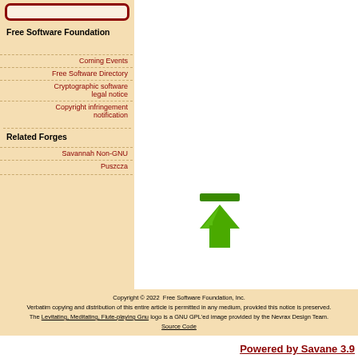[Figure (other): Red-bordered rounded rectangle box (search or input box) at top of sidebar]
Free Software Foundation
Coming Events
Free Software Directory
Cryptographic software legal notice
Copyright infringement notification
Related Forges
Savannah Non-GNU
Puszcza
[Figure (illustration): Green upward arrow icon with a horizontal bar on top (back to top / upload icon)]
Copyright © 2022  Free Software Foundation, Inc.
Verbatim copying and distribution of this entire article is permitted in any medium, provided this notice is preserved.
The Levitating, Meditating, Flute-playing Gnu logo is a GNU GPL'ed image provided by the Nevrax Design Team.
Source Code
Powered by Savane 3.9